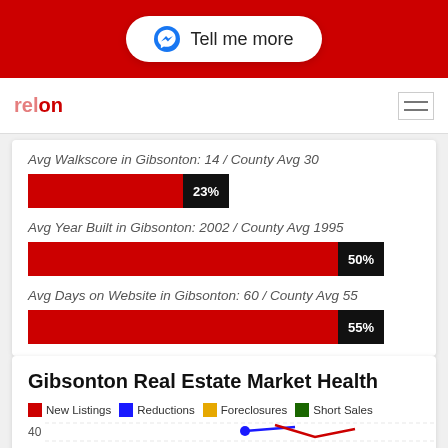[Figure (other): Red banner with 'Tell me more' button (Messenger icon)]
Navigation bar with logo and hamburger menu
Avg Walkscore in Gibsonton: 14 / County Avg 30
[Figure (bar-chart): Avg Walkscore percentage bar]
Avg Year Built in Gibsonton: 2002 / County Avg 1995
[Figure (bar-chart): Avg Year Built percentage bar]
Avg Days on Website in Gibsonton: 60 / County Avg 55
[Figure (bar-chart): Avg Days on Website percentage bar]
Gibsonton Real Estate Market Health
[Figure (line-chart): Line chart showing New Listings (red), Reductions (blue), Foreclosures (orange/yellow), Short Sales (dark green). Y-axis visible: 40, 35. Chart partially cut off at bottom.]